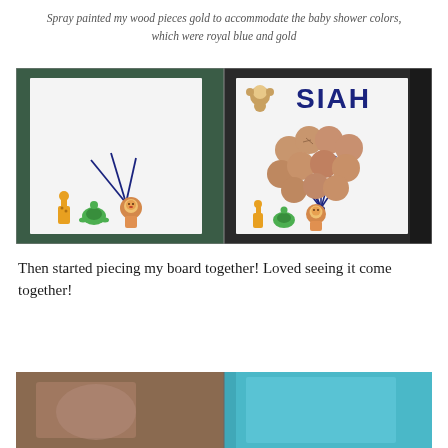Spray painted my wood pieces gold to accommodate the baby shower colors, which were royal blue and gold
[Figure (photo): Two side-by-side photos of a craft board. Left photo shows a white canvas board with navy blue string/ribbon tied at the bottom, with small animal stickers (giraffe, turtle, lion) at the bottom edge. Right photo shows the same board with gold/copper circular wood pieces arranged as balloons on the strings, a monkey sticker and large blue letters 'SIAH' at the top, and the same animal stickers at the bottom.]
Then started piecing my board together! Loved seeing it come together!
[Figure (photo): Partial view of a third photo at the bottom of the page, showing what appears to be teal/blue colored background, cropped.]